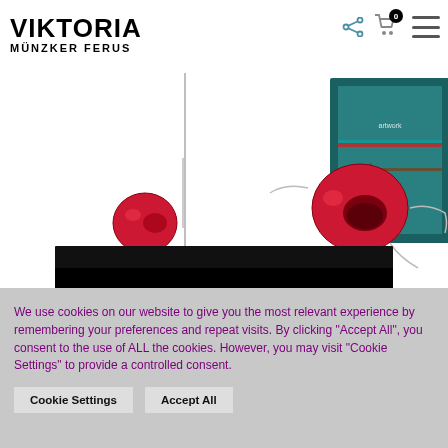VIKTORIA MÜNZKER FERUS
[Figure (photo): Website screenshot showing jewelry artworks: red enamel ball with wire pin (left), colorful mixed-media panel artwork (center), red enamel open-mouth ball with wire (right), and a dark video/image panel below.]
We use cookies on our website to give you the most relevant experience by remembering your preferences and repeat visits. By clicking "Accept All", you consent to the use of ALL the cookies. However, you may visit "Cookie Settings" to provide a controlled consent.
Cookie Settings
Accept All